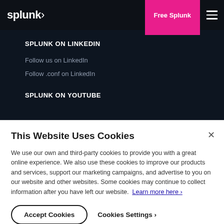splunk> | Free Splunk
SPLUNK ON LINKEDIN
Follow us on LinkedIn
Follow .conf on LinkedIn
SPLUNK ON YOUTUBE
This Website Uses Cookies
We use our own and third-party cookies to provide you with a great online experience. We also use these cookies to improve our products and services, support our marketing campaigns, and advertise to you on our website and other websites. Some cookies may continue to collect information after you have left our website. Learn more here ›
Accept Cookies
Cookies Settings ›